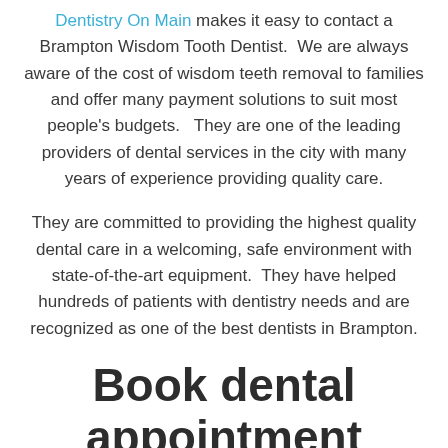Dentistry On Main makes it easy to contact a Brampton Wisdom Tooth Dentist.  We are always aware of the cost of wisdom teeth removal to families and offer many payment solutions to suit most people's budgets.   They are one of the leading providers of dental services in the city with many years of experience providing quality care.
They are committed to providing the highest quality dental care in a welcoming, safe environment with state-of-the-art equipment.  They have helped hundreds of patients with dentistry needs and are recognized as one of the best dentists in Brampton.
Book dental appointment